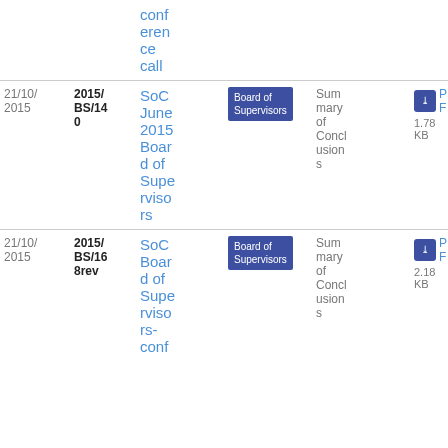| Date | Ref | Title | Body | Description | Download |
| --- | --- | --- | --- | --- | --- |
|  |  | conference call |  |  |  |
| 21/10/2015 | 2015/BS/140 | SoC June 2015 Board of Supervisors | Board of Supervisors | Summary of Conclusions | PDF 1.78 KB 27 |
| 21/10/2015 | 2015/BS/168rev | SoC Board of Supervisors-conf | Board of Supervisors | Summary of Conclusions | PDF 2.18 KB 12 |